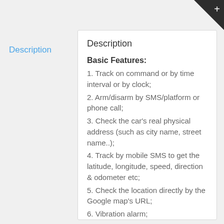Description
Description
Basic Features:
1. Track on command or by time interval or by clock;
2. Arm/disarm by SMS/platform or phone call;
3. Check the car's real physical address (such as city name, street name..);
4. Track by mobile SMS to get the latitude, longitude, speed, direction & odometer etc;
5. Check the location directly by the Google map's URL;
6. Vibration alarm;
7. Battery low-level alarm;